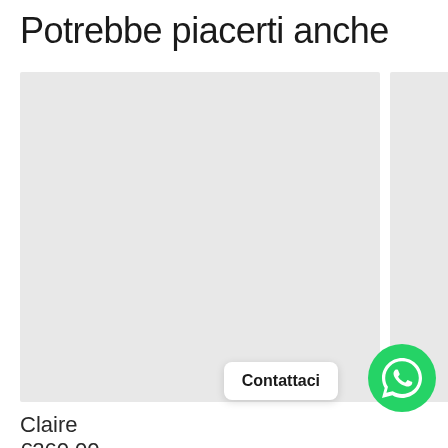Potrebbe piacerti anche
[Figure (photo): Light gray placeholder product image card on left, partially visible second gray card on right]
Claire
€260,00
Contattaci